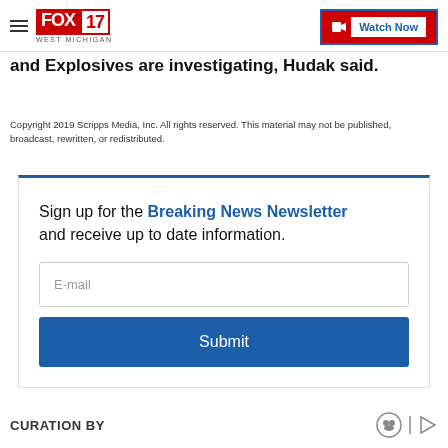FOX 17 WEST MICHIGAN | Watch Now
and Explosives are investigating, Hudak said.
Copyright 2019 Scripps Media, Inc. All rights reserved. This material may not be published, broadcast, rewritten, or redistributed.
Sign up for the Breaking News Newsletter and receive up to date information.
CURATION BY